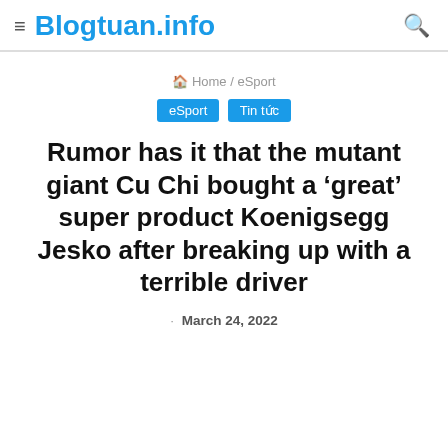Blogtuan.info
Home / eSport
eSport   Tin tức
Rumor has it that the mutant giant Cu Chi bought a 'great' super product Koenigsegg Jesko after breaking up with a terrible driver
March 24, 2022